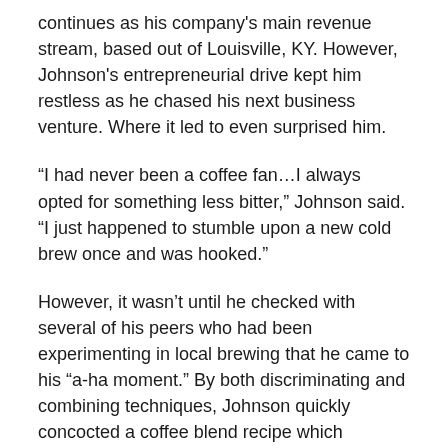continues as his company's main revenue stream, based out of Louisville, KY. However, Johnson's entrepreneurial drive kept him restless as he chased his next business venture. Where it led to even surprised him.
“I had never been a coffee fan…I always opted for something less bitter,” Johnson said. “I just happened to stumble upon a new cold brew once and was hooked.”
However, it wasn’t until he checked with several of his peers who had been experimenting in local brewing that he came to his “a-ha moment.” By both discriminating and combining techniques, Johnson quickly concocted a coffee blend recipe which lowered both bitterness and acidity, but still packed a highly caffeinated punch. Realizing the potential pouring out of his still, a new business was forged and Off The Beaten Path Coffee was born.